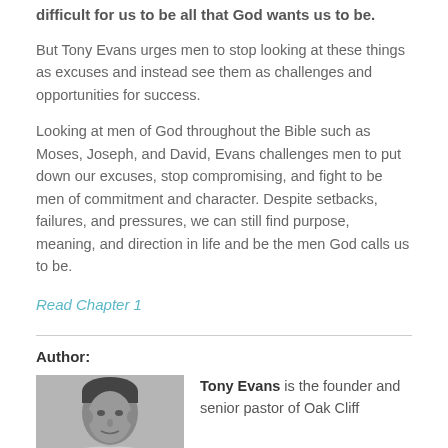difficult for us to be all that God wants us to be.
But Tony Evans urges men to stop looking at these things as excuses and instead see them as challenges and opportunities for success.
Looking at men of God throughout the Bible such as Moses, Joseph, and David, Evans challenges men to put down our excuses, stop compromising, and fight to be men of commitment and character. Despite setbacks, failures, and pressures, we can still find purpose, meaning, and direction in life and be the men God calls us to be.
Read Chapter 1
Author:
[Figure (photo): Black and white photo of Tony Evans, a man with short dark hair]
Tony Evans is the founder and senior pastor of Oak Cliff